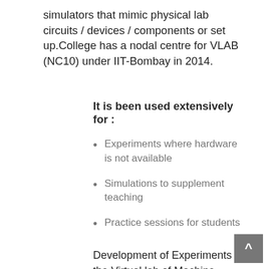simulators that mimic physical lab circuits / devices / components or set up.College has a nodal centre for VLAB (NC10) under IIT-Bombay in 2014.
It is been used extensively for :
Experiments where hardware is not available
Simulations to supplement teaching
Practice sessions for students
Development of Experiments in the Virtual lab of Machine learning by our students under guidance of Dr. Nirmal , lab was reviewed by IITB internal